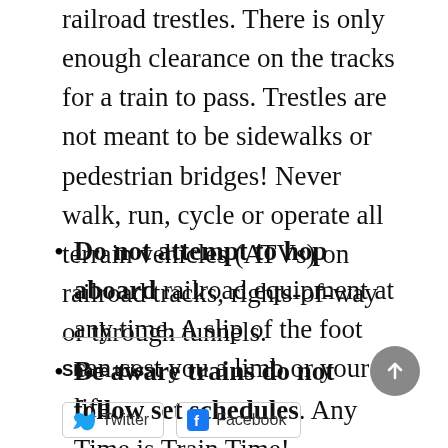railroad trestles. There is only enough clearance on the tracks for a train to pass. Trestles are not meant to be sidewalks or pedestrian bridges! Never walk, run, cycle or operate all terrain vehicles (ATVs) on railroad tracks, rights-of-way or through tunnels.
Do not attempt to hop aboard railroad equipment at any time. A slip of the foot can cost you a limb or your life.
Be aware trains do not follow set schedules. Any Time is Train Time!
Share this:  Twitter  Facebook